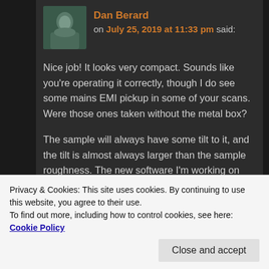Dan Berard on July 25, 2019 at 11:33 pm said:
Nice job! It looks very compact. Sounds like you're operating it correctly, though I do see some mains EMI pickup in some of your scans. Were those ones taken without the metal box?
The sample will always have some tilt to it, and the tilt is almost always larger than the sample roughness. The new software I'm working on will let you flatten the image being displayed.
Privacy & Cookies: This site uses cookies. By continuing to use this website, you agree to their use.
To find out more, including how to control cookies, see here: Cookie Policy
images with a larger scan size, use at least